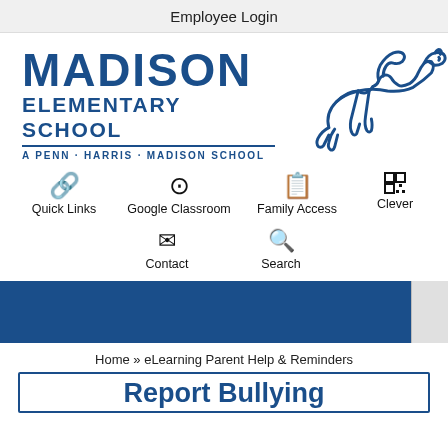Employee Login
[Figure (logo): Madison Elementary School logo with cougar mascot — blue text reading MADISON ELEMENTARY SCHOOL, A PENN·HARRIS·MADISON SCHOOL, with a line-art cougar illustration to the right]
Quick Links
Google Classroom
Family Access
Clever
Contact
Search
Home » eLearning Parent Help & Reminders
Report Bullying